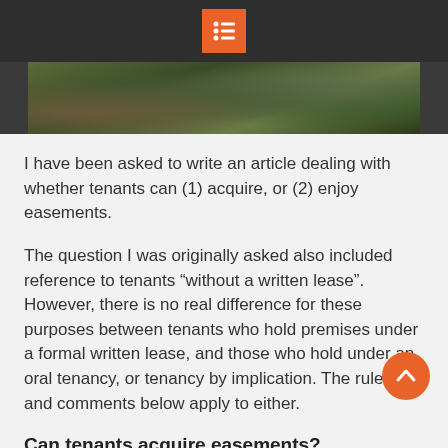[Navigation menu icon]
[Figure (photo): Outdoor nature scene with foliage and stone, appears to be a garden or woodland setting]
I have been asked to write an article dealing with whether tenants can (1) acquire, or (2) enjoy easements.
The question I was originally asked also included reference to tenants “without a written lease”. However, there is no real difference for these purposes between tenants who hold premises under a formal written lease, and those who hold under an oral tenancy, or tenancy by implication. The rules and comments below apply to either.
Can tenants acquire easements?